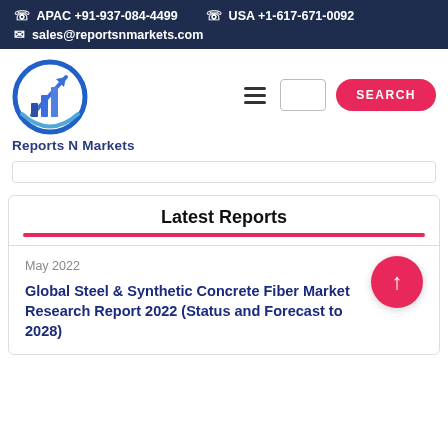APAC +91-937-084-4499   USA +1-617-671-0092   sales@reportsnmarkets.com
[Figure (logo): Reports N Markets logo: circular icon with bar chart and arrow, blue gradient, with text 'Reports N Markets' below]
Latest Reports
May 2022
Global Steel & Synthetic Concrete Fiber Market Research Report 2022 (Status and Forecast to 2028)